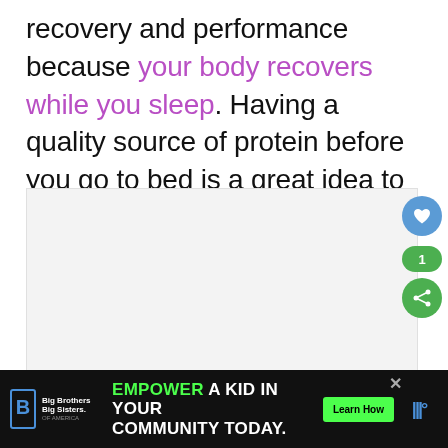recovery and performance because your body recovers while you sleep. Having a quality source of protein before you go to bed is a great idea to help facilitate the recovery process.
[Figure (other): Empty/placeholder image area representing an embedded article image]
[Figure (infographic): Advertisement bar at bottom: Big Brothers Big Sisters logo on left, green text 'EMPOWER A KID IN YOUR COMMUNITY TODAY.' with 'Learn How' button, close button, and weather app icon on right]